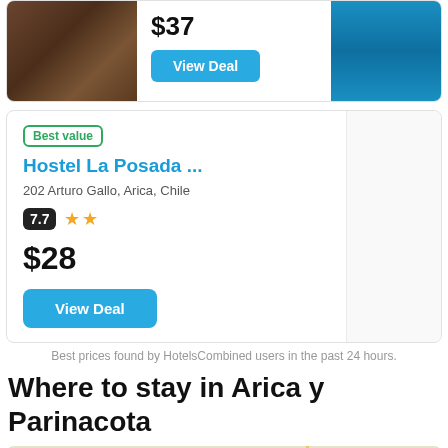[Figure (photo): Top card with table/dining photo on left, price $37, View Deal button, and pool/blue water photo on right]
$37
View Deal
Best value
Hostel La Posada ...
202 Arturo Gallo, Arica, Chile
7.7
$28
View Deal
Best prices found by HotelsCombined users in the past 24 hours.
Where to stay in Arica y Parinacota
[Figure (map): Map of Arica y Parinacota region showing roads and route markers including badge 11 and badge 2 with zoom + button]